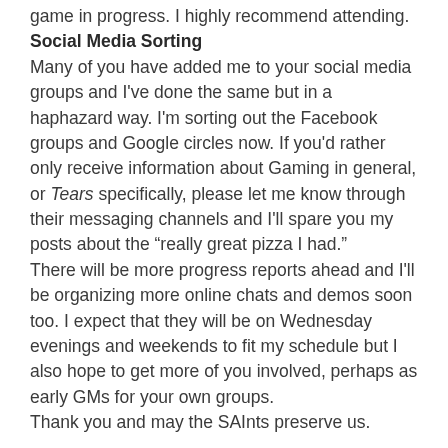game in progress. I highly recommend attending.
Social Media Sorting
Many of you have added me to your social media groups and I've done the same but in a haphazard way. I'm sorting out the Facebook groups and Google circles now. If you'd rather only receive information about Gaming in general, or Tears specifically, please let me know through their messaging channels and I'll spare you my posts about the “really great pizza I had.”
There will be more progress reports ahead and I'll be organizing more online chats and demos soon too. I expect that they will be on Wednesday evenings and weekends to fit my schedule but I also hope to get more of you involved, perhaps as early GMs for your own groups.
Thank you and may the SAInts preserve us.